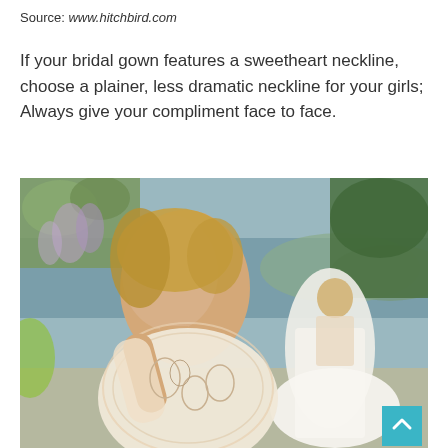Source: www.hitchbird.com
If your bridal gown features a sweetheart neckline, choose a plainer, less dramatic neckline for your girls; Always give your compliment face to face.
[Figure (photo): Two women in white bridal gowns with lace bodices and long sleeves in an outdoor garden setting with wisteria and greenery. The foreground shows a close-up of a blonde bride in a lace long-sleeve gown touching her neck; the background shows another bride in a backless ballgown with a voluminous skirt standing near water and tropical foliage.]